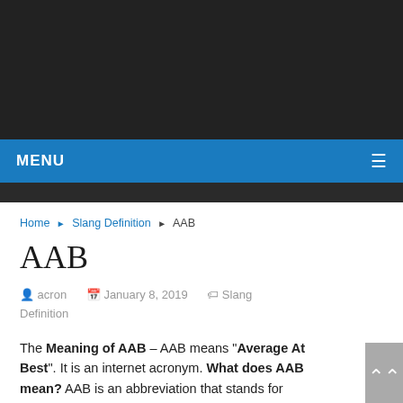MENU
Home ▸ Slang Definition ▸ AAB
AAB
acron   January 8, 2019   Slang Definition
The Meaning of AAB – AAB means “Average At Best”. It is an internet acronym. What does AAB mean? AAB is an abbreviation that stands for